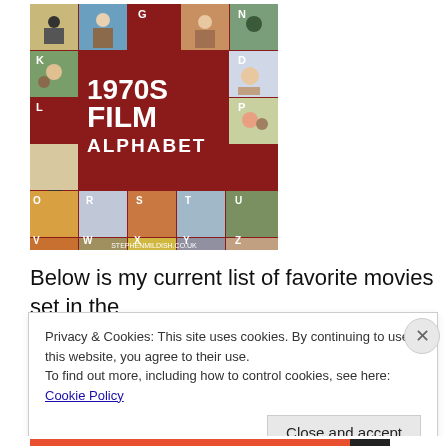[Figure (illustration): Book cover for '1970s Film Alphabet' by stephenmildish.co.uk — a grid of illustrated movie character scenes on a dark red background with large white text]
Below is my current list of favorite movies set in the
Privacy & Cookies: This site uses cookies. By continuing to use this website, you agree to their use.
To find out more, including how to control cookies, see here: Cookie Policy
Close and accept